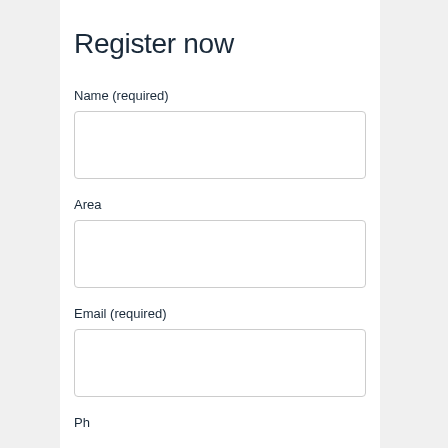Register now
Name (required)
Area
Email (required)
Ph